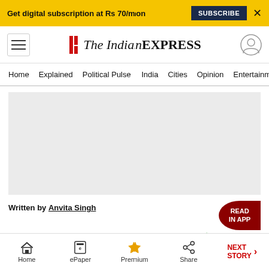Get digital subscription at Rs 70/mon  SUBSCRIBE  X
The Indian EXPRESS — Home  Explained  Political Pulse  India  Cities  Opinion  Entertainment
[Figure (other): Gray advertisement placeholder block]
Written by Anvita Singh
New Delhi | September 21, 2019 7:48:16 am
[Figure (infographic): Social share icons: WhatsApp, Facebook, Twitter]
Home  ePaper  Premium  Share  NEXT STORY